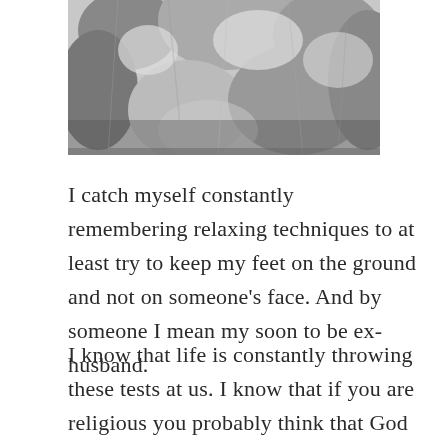[Figure (photo): Black and white photograph showing what appears to be fluffy fur or feathers in close-up, cropped at the top of the page]
I catch myself constantly remembering relaxing techniques to at least try to keep my feet on the ground and not on someone's face. And by someone I mean my soon to be ex-husband.
I know that life is constantly throwing these tests at us. I know that if you are religious you probably think that God gives you these burdens because it